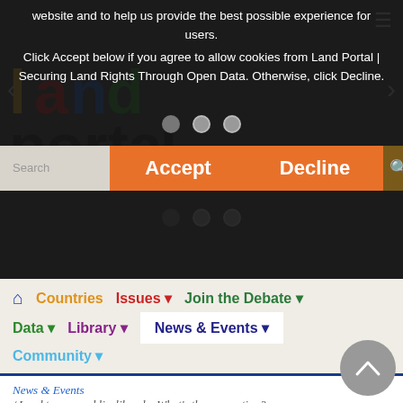[Figure (screenshot): Land Portal website screenshot with cookie consent overlay. Top dark section shows colorful 'land portal' logo, carousel navigation arrows, three dot indicators. Cookie overlay text reads: 'website and to help us provide the best possible experience for users. Click Accept below if you agree to allow cookies from Land Portal | Securing Land Rights Through Open Data. Otherwise, click Decline.' Two orange buttons: Accept and Decline. Below is a search bar with orange Accept/Decline buttons. Navigation bar with home icon, Countries (orange), Issues (red), Join the Debate (green), Data (green), Library (purple), News & Events (navy, highlighted), Community (light blue). Blue separator line. Breadcrumb: News & Events / Land tenure and livelihoods: What's the connection? Gray scroll-to-top button bottom right.]